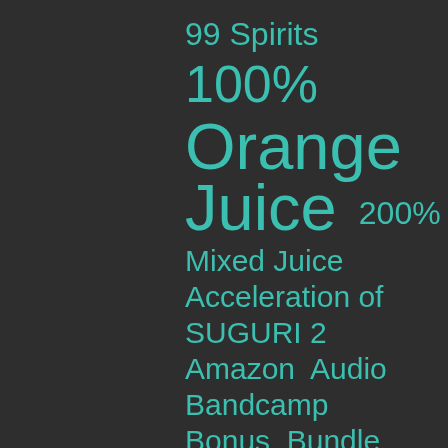99 Spirits
100%
Orange
Juice 200%
Mixed Juice
Acceleration of SUGURI 2
Amazon  Audio
Bandcamp
Bonus  Bundle
Chuusotsu
Code  Contest
Demo  Dendo-